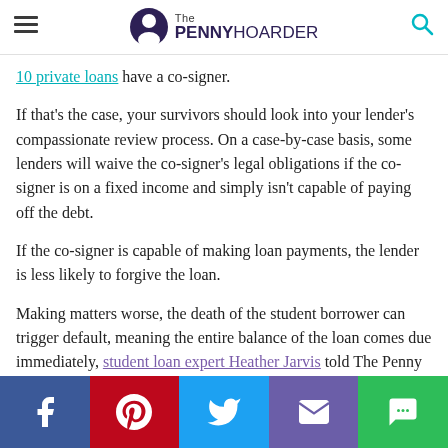The PENNY HOARDER
10 private loans have a co-signer.
If that's the case, your survivors should look into your lender's compassionate review process. On a case-by-case basis, some lenders will waive the co-signer's legal obligations if the co-signer is on a fixed income and simply isn't capable of paying off the debt.
If the co-signer is capable of making loan payments, the lender is less likely to forgive the loan.
Making matters worse, the death of the student borrower can trigger default, meaning the entire balance of the loan comes due immediately, student loan expert Heather Jarvis told The Penny Hoarder.
[Figure (infographic): Social media share bar with Facebook, Pinterest, Twitter, email, and chat buttons]